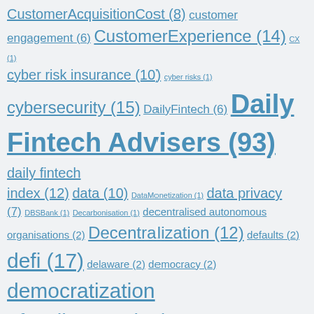CustomerAcquisitionCost (8) customer engagement (6) CustomerExperience (14) CX (1) cyber risk insurance (10) cyber risks (1) cybersecurity (15) DailyFintech (6) Daily Fintech Advisers (93) daily fintech index (12) data (10) DataMonetization (1) data privacy (7) DBSBank (1) Decarbonisation (1) decentralised autonomous organisations (2) Decentralization (12) defaults (2) defi (17) delaware (2) democracy (2) democratization of wall street (16) demonetisation (2) dentist (1) deposit accounts (2) deposits (1) Deposit Solutions (1) developers (1) DEX (1) diem (3) digin (2) digital (16) Digital assets (6) digital banking (7) digital checking account (1) digital cooperative (7) digital currencies (1) digital footprint (1) Digital Gold (4) digital id (4) digital identity (17) digital insurance (1) digitalization (4) digital transformation (10) digital ux (1) digital wallet (1) digital